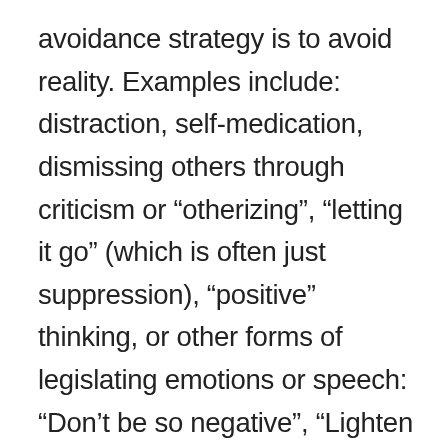avoidance strategy is to avoid reality. Examples include: distraction, self-medication, dismissing others through criticism or “otherizing”, “letting it go” (which is often just suppression), “positive” thinking, or other forms of legislating emotions or speech: “Don’t be so negative”, “Lighten up”, “We don’t say ‘hate’”, “You shouldn’t feel sad”, “stop whining”, “suck it up”. I think of statements like these as language traps because we are trained in our culture to use these phrases to describe emotion (“I fell apart”, “I lost it”) and unconsciously take them as truth. In fact,